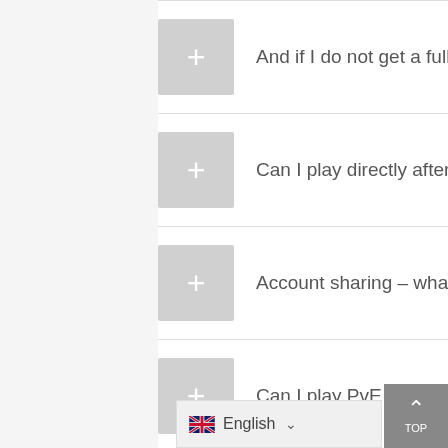And if I do not get a full set of armor for the completion of the dungeons?
Can I play directly after placing an order?
Account sharing – what is it and why do you need it?
Can I play PvE myself?
How do I unlock my account?